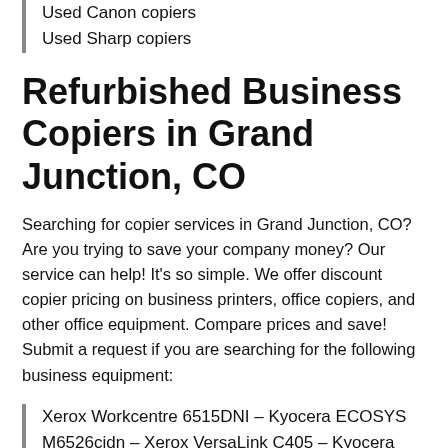Used Canon copiers
Used Sharp copiers
Refurbished Business Copiers in Grand Junction, CO
Searching for copier services in Grand Junction, CO? Are you trying to save your company money? Our service can help! It's so simple. We offer discount copier pricing on business printers, office copiers, and other office equipment. Compare prices and save! Submit a request if you are searching for the following business equipment:
Xerox Workcentre 6515DNI – Kyocera ECOSYS M6526cidn – Xerox VersaLink C405 – Kyocera